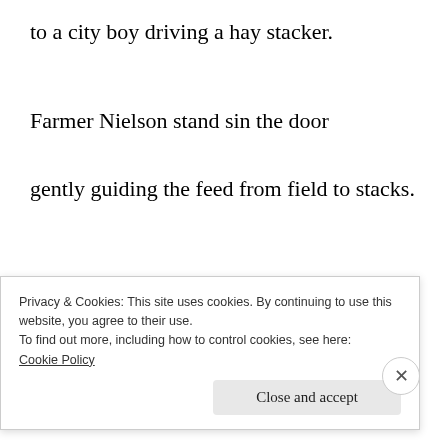to a city boy driving a hay stacker.
Farmer Nielson stand sin the door
gently guiding the feed from field to stacks.
He’s little time to rest
Privacy & Cookies: This site uses cookies. By continuing to use this website, you agree to their use.
To find out more, including how to control cookies, see here:
Cookie Policy
Close and accept